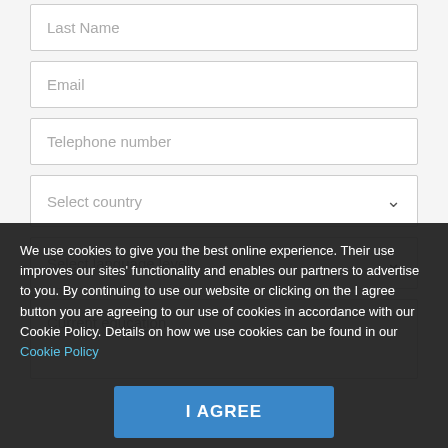Last Name
Email
Telephone number
Select country
Select language level
Current education
We use cookies to give you the best online experience. Their use improves our sites' functionality and enables our partners to advertise to you. By continuing to use our website or clicking on the I agree button you are agreeing to our use of cookies in accordance with our Cookie Policy. Details on how we use cookies can be found in our Cookie Policy
I AGREE